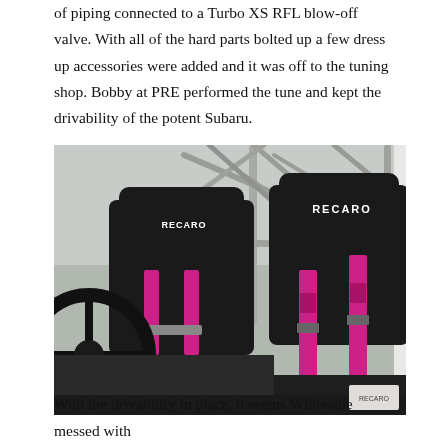of piping connected to a Turbo XS RFL blow-off valve. With all of the hard parts bolted up a few dress up accessories were added and it was off to the tuning shop. Bobby at PRE performed the tune and kept the drivability of the potent Subaru.
[Figure (photo): Interior of a Subaru race car showing two black Recaro racing seats with pink/magenta harness belts, a roll cage in the background, and a steering wheel on the left.]
With the drivability in place, it seems Whiteside messed with